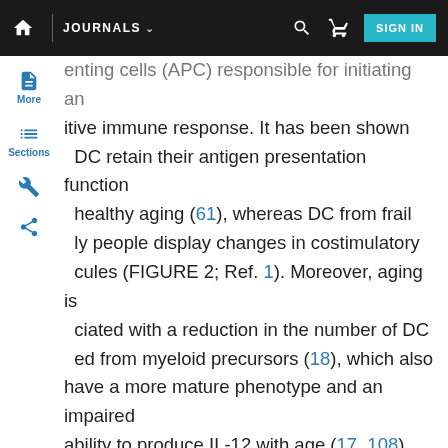JOURNALS  [search] [cart] SIGN IN
enting cells (APC) responsible for initiating an itive immune response. It has been shown DC retain their antigen presentation function healthy aging (61), whereas DC from frail ly people display changes in costimulatory cules (FIGURE 2; Ref. 1). Moreover, aging is ciated with a reduction in the number of DC ed from myeloid precursors (18), which also have a more mature phenotype and an impaired ability to produce IL-12 with age (17, 108). Other functions such as macropinocytosis, endocyto-sis, response to chemokines, and cytokine secretion are impaired, probably as a consequence of decreased activation of the phosphoinositide-3 kinase pathway (2). Together, these data suggest